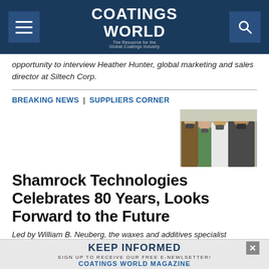Coatings World — The Resource for the Global Coatings Industry
opportunity to interview Heather Hunter, global marketing and sales director at Siltech Corp.
BREAKING NEWS | SUPPLIERS CORNER
[Figure (photo): Group photo of four people wearing masks in an indoor setting]
Shamrock Technologies Celebrates 80 Years, Looks Forward to the Future
Led by William B. Neuberg, the waxes and additives specialist continually brings its expertise to new
KEEP INFORMED — SIGN UP TO RECEIVE OUR FREE E-NEWLSETTER! COATINGS WORLD MAGAZINE